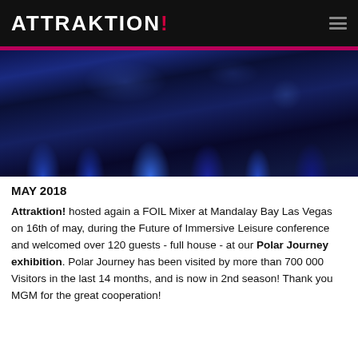ATTRAKTION!
[Figure (photo): Dark event venue photo showing a crowd of people in blue-tinted lighting, taken at Polar Journey exhibition at Mandalay Bay Las Vegas]
MAY 2018
Attraktion! hosted again a FOIL Mixer at Mandalay Bay Las Vegas on 16th of may, during the Future of Immersive Leisure conference and welcomed over 120 guests - full house - at our Polar Journey exhibition. Polar Journey has been visited by more than 700 000 Visitors in the last 14 months, and is now in 2nd season! Thank you MGM for the great cooperation!